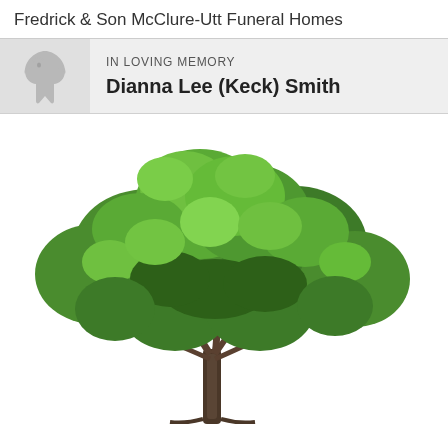Fredrick & Son McClure-Utt Funeral Homes
IN LOVING MEMORY
Dianna Lee (Keck) Smith
[Figure (illustration): A large green deciduous tree with a wide canopy on a white background, depicted in a realistic photographic style.]